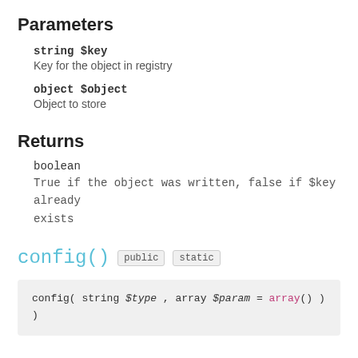Parameters
string $key
Key for the object in registry
object $object
Object to store
Returns
boolean
True if the object was written, false if $key already exists
config() public static
config( string $type , array $param = array() )